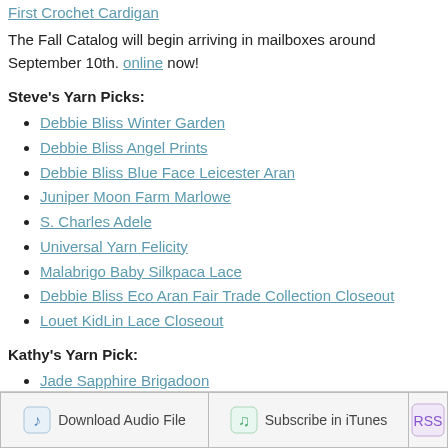First Crochet Cardigan
The Fall Catalog will begin arriving in mailboxes around September 10th. online now!
Steve's Yarn Picks:
Debbie Bliss Winter Garden
Debbie Bliss Angel Prints
Debbie Bliss Blue Face Leicester Aran
Juniper Moon Farm Marlowe
S. Charles Adele
Universal Yarn Felicity
Malabrigo Baby Silkpaca Lace
Debbie Bliss Eco Aran Fair Trade Collection Closeout
Louet KidLin Lace Closeout
Kathy's Yarn Pick:
Jade Sapphire Brigadoon
Reminder: WEBS will be closed this Sunday, Sept. 2nd and Monday, S Labor Day holiday.
[Figure (other): Download Audio File button, Subscribe in iTunes button, RSS button]